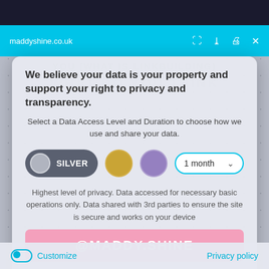maddyshine.co.uk
YOU (WHAT IS LINKBUILDING)
We believe your data is your property and support your right to privacy and transparency.
Select a Data Access Level and Duration to choose how we use and share your data.
SILVER  1 month
Highest level of privacy. Data accessed for necessary basic operations only. Data shared with 3rd parties to ensure the site is secure and works on your device
@MADDY.SHINE
Save my preferences
Customize
Privacy policy